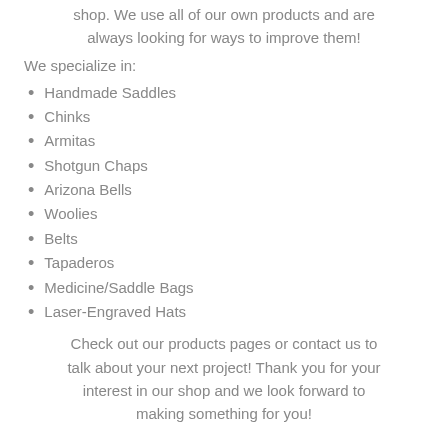shop. We use all of our own products and are always looking for ways to improve them!
We specialize in:
Handmade Saddles
Chinks
Armitas
Shotgun Chaps
Arizona Bells
Woolies
Belts
Tapaderos
Medicine/Saddle Bags
Laser-Engraved Hats
Check out our products pages or contact us to talk about your next project! Thank you for your interest in our shop and we look forward to making something for you!